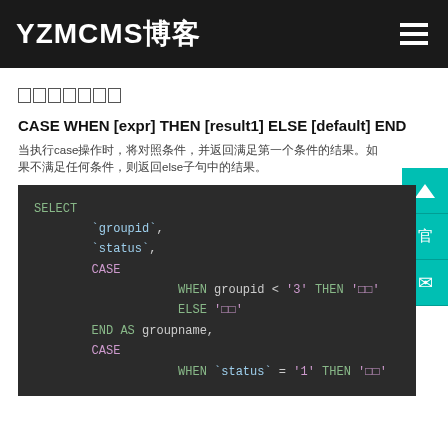YZMCMS博客
□□□□□□□
CASE WHEN [expr] THEN [result1] ELSE [default] END
当执行case操作时，将对照条件，并返回满足第一个条件的结果。如果不满足任何条件，则返回else子句中的结果。
SELECT
    `groupid`,
    `status`,
    CASE
        WHEN groupid < '3' THEN '□□'
        ELSE '□□'
    END AS groupname,
    CASE
        WHEN `status` = '1' THEN '□□'